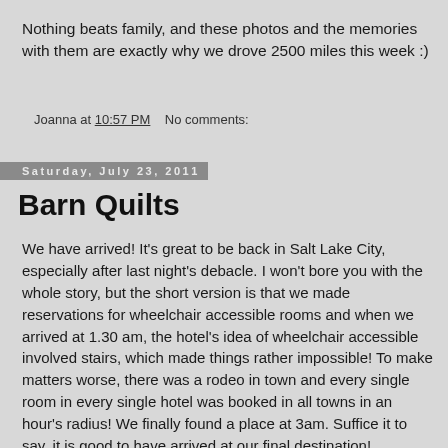Nothing beats family, and these photos and the memories with them are exactly why we drove 2500 miles this week :)
Joanna at 10:57 PM    No comments:
Saturday, July 23, 2011
Barn Quilts
We have arrived! It's great to be back in Salt Lake City, especially after last night's debacle. I won't bore you with the whole story, but the short version is that we made reservations for wheelchair accessible rooms and when we arrived at 1.30 am, the hotel's idea of wheelchair accessible involved stairs, which made things rather impossible! To make matters worse, there was a rodeo in town and every single room in every single hotel was booked in all towns in an hour's radius! We finally found a place at 3am. Suffice it to say, it is good to have arrived at our final destination!